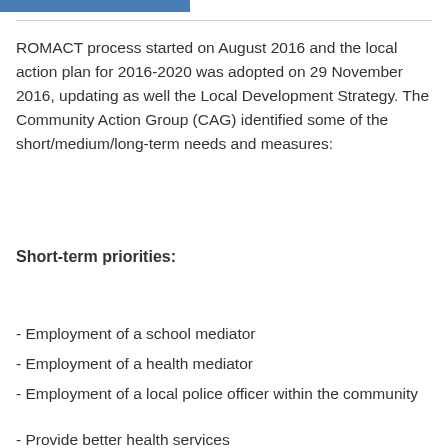ROMACT process started on August 2016 and the local action plan for 2016-2020 was adopted on 29 November 2016, updating as well the Local Development Strategy. The Community Action Group (CAG) identified some of the short/medium/long-term needs and measures:
Short-term priorities:
- Employment of a school mediator
- Employment of a health mediator
- Employment of a local police officer within the community
- Provide better health services